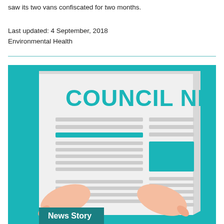saw its two vans confiscated for two months.
Last updated: 4 September, 2018
Environmental Health
[Figure (illustration): Council News illustration showing hands holding a newspaper with 'COUNCIL NEWS' text in teal, with horizontal lines representing article text and a teal rectangle image placeholder. A 'News Story' label banner appears at the bottom left.]